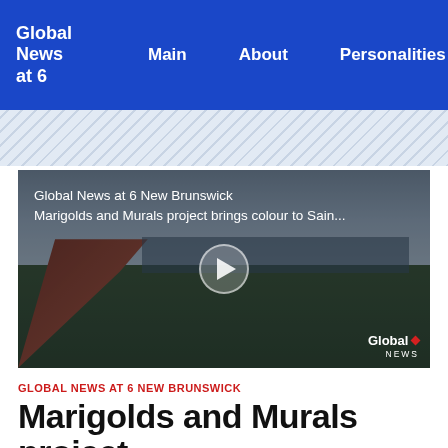Global News at 6 | Main | About | Personalities
[Figure (screenshot): Video thumbnail showing a waterfront park path with city skyline in background, overcast sky. Text overlay reads 'Global News at 6 New Brunswick / Marigolds and Murals project brings colour to Sain...' with a play button in the center. Global News watermark in bottom right.]
GLOBAL NEWS AT 6 NEW BRUNSWICK
Marigolds and Murals project